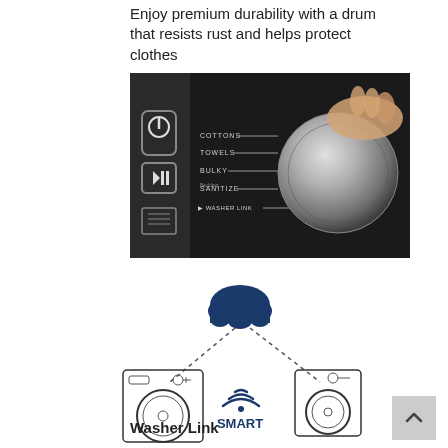Enjoy premium durability with a drum that resists rust and helps protect clothes
[Figure (photo): Close-up photo of a washing machine control panel showing a dial with cycle options: COTTONS, TOWELS, BULKY, SANITIZE, WASHER LINK. A hand is turning the chrome selector knob on the right side of the panel. The panel is dark/black with power and play/pause buttons on the left.]
[Figure (infographic): Smart connectivity diagram showing a dark blue cloud icon at the top connected by dotted lines to two washing machine outline illustrations on the left and right. In the center is a WiFi symbol with the word SMART below it in bold dark blue text.]
Washer Link